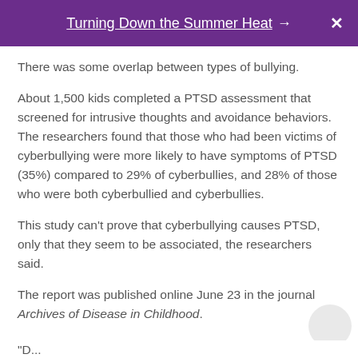Turning Down the Summer Heat →  X
There was some overlap between types of bullying.
About 1,500 kids completed a PTSD assessment that screened for intrusive thoughts and avoidance behaviors. The researchers found that those who had been victims of cyberbullying were more likely to have symptoms of PTSD (35%) compared to 29% of cyberbullies, and 28% of those who were both cyberbullied and cyberbullies.
This study can't prove that cyberbullying causes PTSD, only that they seem to be associated, the researchers said.
The report was published online June 23 in the journal Archives of Disease in Childhood.